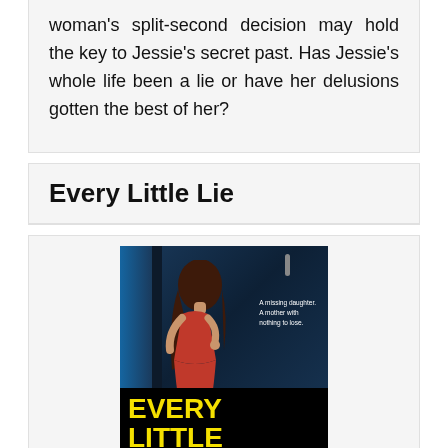woman's split-second decision may hold the key to Jessie's secret past. Has Jessie's whole life been a lie or have her delusions gotten the best of her?
Every Little Lie
[Figure (photo): Book cover of 'Every Little Lie' showing a girl in a red dress standing at a door, with yellow title text on dark blue background. Tagline reads: A missing daughter. A mother with nothing to lose.]